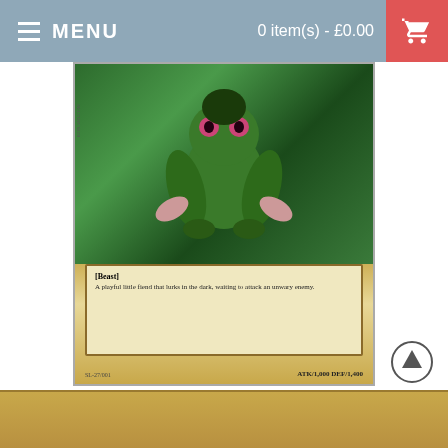MENU   0 item(s) - £0.00
[Figure (photo): Feral Imp Yu-Gi-Oh trading card showing a green demon-like creature crouching, with card text area showing Beast type description and ATK/DEF stats]
Feral Imp SYE-003 Unlimited Edition (Common) Yu-Gi-Oh! Card
£1.94
ADD TO CART